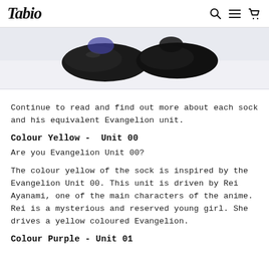Tabio
[Figure (photo): Product photo showing socks (black shoes/socks) on a light purple/white background, cropped at top.]
Continue to read and find out more about each sock and his equivalent Evangelion unit.
Colour Yellow -  Unit 00
Are you Evangelion Unit 00?
The colour yellow of the sock is inspired by the Evangelion Unit 00. This unit is driven by Rei Ayanami, one of the main characters of the anime. Rei is a mysterious and reserved young girl. She drives a yellow coloured Evangelion.
Colour Purple - Unit 01